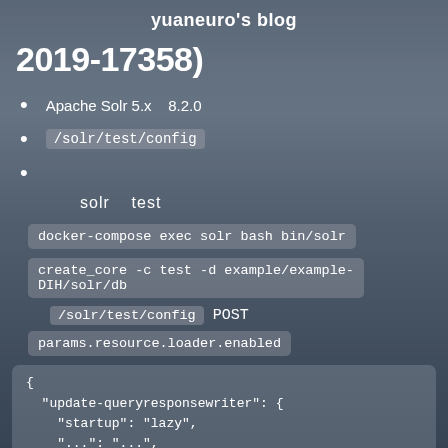yuaneuro's blog
2019-17358)
Apache Solr 5.x   8.2.0
/solr/test/config
solr   test
docker-compose exec solr bash bin/solr
create_core -c test -d example/example-DIH/solr/db
/solr/test/config POST
params.resource.loader.enabled
{
  "update-queryresponsewriter": {
    "startup": "lazy",
    "..."